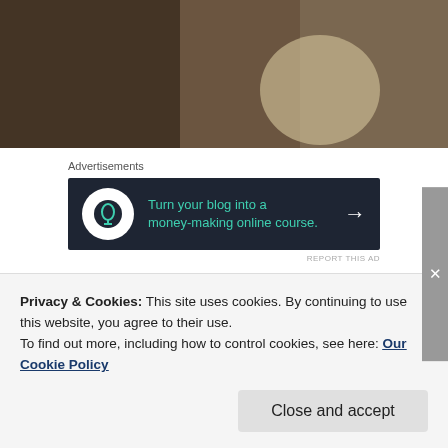[Figure (photo): Video thumbnail showing a blurred indoor scene with a play button overlay]
Advertisements
[Figure (infographic): Advertisement banner: Turn your blog into a money-making online course. Arrow pointing right. Dark navy background with teal text.]
REPORT THIS AD
In any event Peter wasn’t allowing discussion of certain matters or he would have walked out. He
Privacy & Cookies: This site uses cookies. By continuing to use this website, you agree to their use.
To find out more, including how to control cookies, see here: Our Cookie Policy
Close and accept